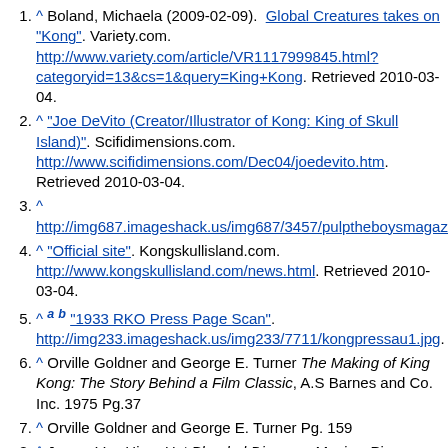^ Boland, Michaela (2009-02-09). "Global Creatures takes on 'Kong'". Variety.com. http://www.variety.com/article/VR1117999845.html?categoryid=13&cs=1&query=King+Kong. Retrieved 2010-03-04.
^ "Joe DeVito (Creator/Illustrator of Kong: King of Skull Island)". Scifidimensions.com. http://www.scifidimensions.com/Dec04/joedevito.htm. Retrieved 2010-03-04.
^ http://img687.imageshack.us/img687/3457/pulptheboysmagazine.jpg
^ "Official site". Kongskullisland.com. http://www.kongskullisland.com/news.html. Retrieved 2010-03-04.
^ a b "1933 RKO Press Page Scan". http://img233.imageshack.us/img233/7711/kongpressau1.jpg.
^ Orville Goldner and George E. Turner The Making of King Kong: The Story Behind a Film Classic, A.S Barnes and Co. Inc. 1975 Pg.37
^ Orville Goldner and George E. Turner Pg. 159
^ James Van Hise, Hot Blooded Dinosaur Movies, Pioneer Books Inc. 1993 Pg.66
^ Ray Morton, King Kong: The History of a Movie Icon. Applause Theater and Cinema Books. 2005 Pg.36